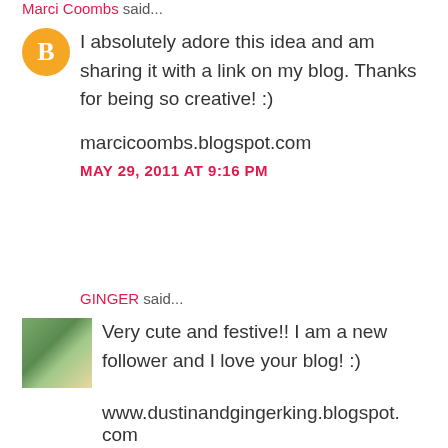Marci Coombs said...
I absolutely adore this idea and am sharing it with a link on my blog. Thanks for being so creative! :)
marcicoombs.blogspot.com
MAY 29, 2011 AT 9:16 PM
GINGER said...
Very cute and festive!! I am a new follower and I love your blog! :)
www.dustinandgingerking.blogspot.com